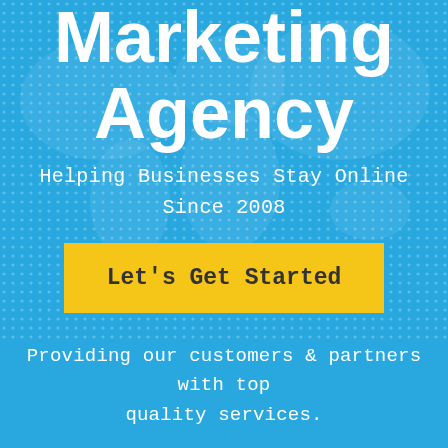Marketing Agency
Helping Businesses Stay Online Since 2008
[Figure (illustration): Dotted world map background on blue background with a yellow button 'Let's Get Started']
Providing our customers & partners with top quality services.